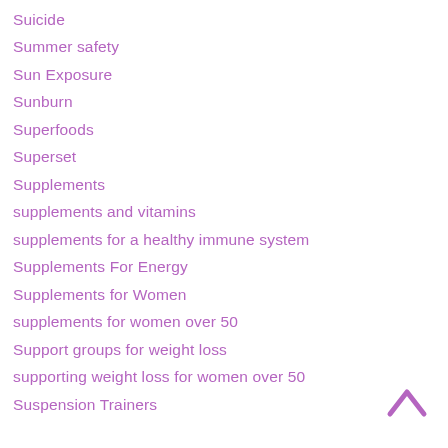Suicide
Summer safety
Sun Exposure
Sunburn
Superfoods
Superset
Supplements
supplements and vitamins
supplements for a healthy immune system
Supplements For Energy
Supplements for Women
supplements for women over 50
Support groups for weight loss
supporting weight loss for women over 50
Suspension Trainers